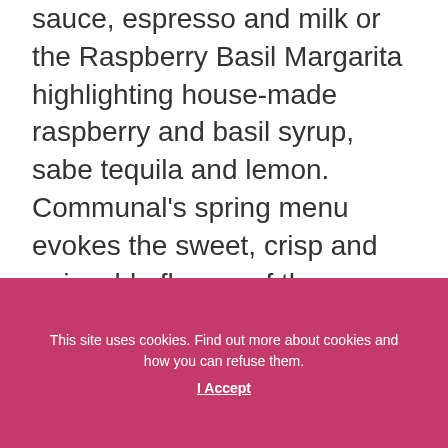sauce, espresso and milk or the Raspberry Basil Margarita highlighting house-made raspberry and basil syrup, sabe tequila and lemon. Communal's spring menu evokes the sweet, crisp and enjoyable flavors of the season, so be sure to stop by one of the locations to give the new menu items a try.
[Figure (other): White rectangular image/content area with a light gray border]
This site uses cookies. Find out more about cookies and how you can refuse them.
I Accept